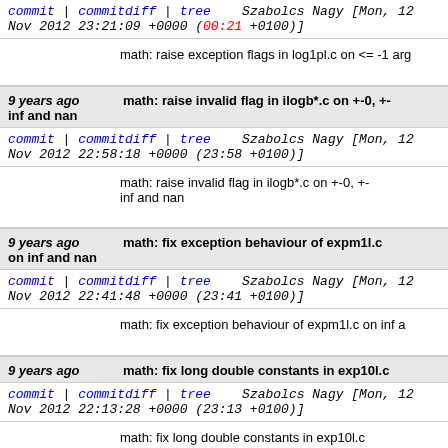commit | commitdiff | tree   Szabolcs Nagy [Mon, 12 Nov 2012 23:21:09 +0000 (00:21 +0100)]
math: raise exception flags in log1pl.c on <= -1 arg
9 years ago   math: raise invalid flag in ilogb*.c on +-0, +-inf and nan
commit | commitdiff | tree   Szabolcs Nagy [Mon, 12 Nov 2012 22:58:18 +0000 (23:58 +0100)]
math: raise invalid flag in ilogb*.c on +-0, +-inf and nan
9 years ago   math: fix exception behaviour of expm1l.c on inf and nan
commit | commitdiff | tree   Szabolcs Nagy [Mon, 12 Nov 2012 22:41:48 +0000 (23:41 +0100)]
math: fix exception behaviour of expm1l.c on inf and nan
9 years ago   math: fix long double constants in exp10l.c
commit | commitdiff | tree   Szabolcs Nagy [Mon, 12 Nov 2012 22:13:28 +0000 (23:13 +0100)]
math: fix long double constants in exp10l.c